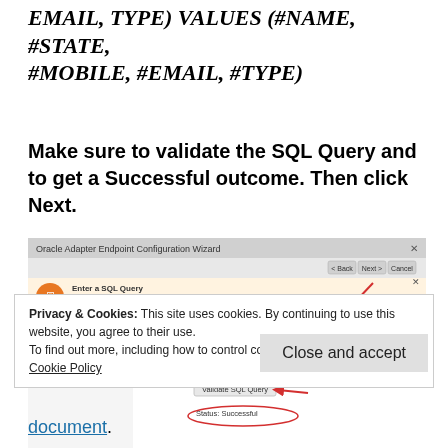EMAIL, TYPE) VALUES (#NAME, #STATE, #MOBILE, #EMAIL, #TYPE)
Make sure to validate the SQL Query and to get a Successful outcome. Then click Next.
[Figure (screenshot): Oracle Adapter Endpoint Configuration Wizard showing SQL Query entry with INSERT INTO USERS statement and Validate SQL Query button with Status: Successful. Red arrows point to key UI elements.]
Privacy & Cookies: This site uses cookies. By continuing to use this website, you agree to their use.
To find out more, including how to control cookies, see here: Cookie Policy
Close and accept
document.